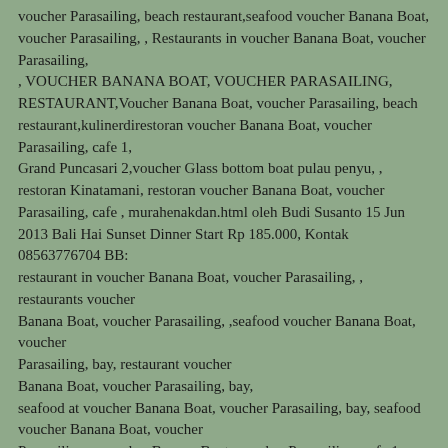voucher Parasailing,  beach restaurant,seafood voucher Banana Boat, voucher Parasailing, , Restaurants in voucher Banana Boat, voucher Parasailing, , VOUCHER BANANA BOAT, VOUCHER PARASAILING,  RESTAURANT,Voucher Banana Boat, voucher Parasailing,  beach restaurant,kulinerdirestoran  voucher Banana Boat, voucher Parasailing,  cafe  1, Grand Puncasari 2,voucher Glass bottom boat pulau penyu, , restoran Kinatamani, restoran  voucher Banana Boat, voucher Parasailing,  cafe , murahenakdan.html oleh Budi Susanto  15 Jun 2013  Bali Hai Sunset Dinner Start Rp 185.000, Kontak 08563776704 BB: restaurant in voucher Banana Boat, voucher Parasailing, , restaurants voucher Banana Boat, voucher Parasailing, ,seafood voucher Banana Boat, voucher Parasailing,  bay, restaurant voucher Banana Boat, voucher Parasailing,  bay, seafood at voucher Banana Boat, voucher Parasailing,  bay, seafood voucher Banana Boat, voucher Parasailing, , voucher Banana Boat, voucher Parasailing,  cafe  1, Grand Puncasari 2,voucher Glass bottom boat pulau penyu, , restoran Kinatamani, restoran  voucher Banana